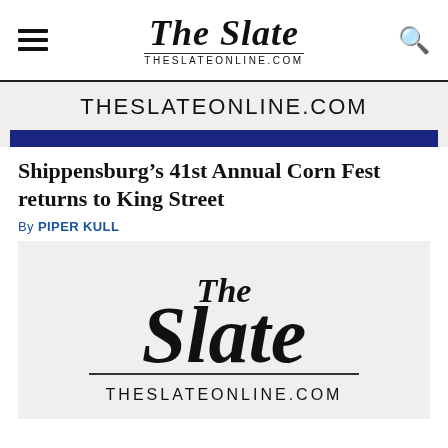The Slate — THESLATEONLINE.COM
THESLATEONLINE.COM
Shippensburg’s 41st Annual Corn Fest returns to King Street
By PIPER KULL
[Figure (logo): The Slate newspaper logo — large blackletter 'The Slate' text above a horizontal rule and 'THESLATEONLINE.COM' in sans-serif, on a light gray background]